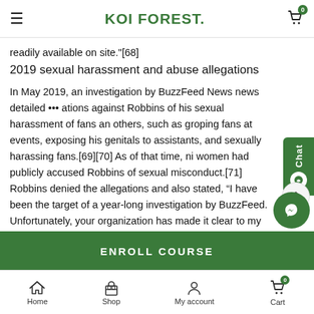KOI FOREST.
readily available on site."[68]
2019 sexual harassment and abuse allegations
In May 2019, an investigation by BuzzFeed News news detailed allegations against Robbins of his sexual harassment of fans and others, such as groping fans at events, exposing his genitals to assistants, and sexually harassing fans.[69][70] As of that time, nine women had publicly accused Robbins of sexual misconduct.[71] Robbins denied the allegations and also stated, “I have been the target of a year-long investigation by BuzzFeed. Unfortunately, your organization has made it clear to my team that you intend to move forward with publishing an inaccurate, agenda-driven version of my past, pierced with falsehoods.”[72]
ENROLL COURSE
Home  Shop  My account  Cart